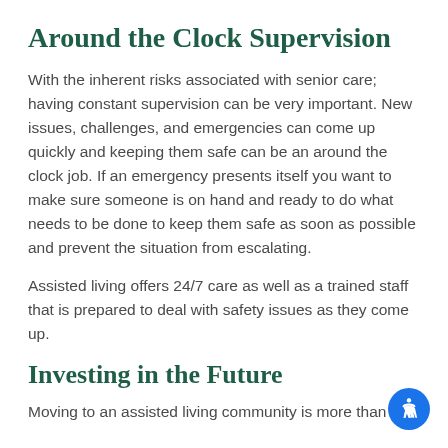Around the Clock Supervision
With the inherent risks associated with senior care; having constant supervision can be very important. New issues, challenges, and emergencies can come up quickly and keeping them safe can be an around the clock job. If an emergency presents itself you want to make sure someone is on hand and ready to do what needs to be done to keep them safe as soon as possible and prevent the situation from escalating.
Assisted living offers 24/7 care as well as a trained staff that is prepared to deal with safety issues as they come up.
Investing in the Future
Moving to an assisted living community is more than